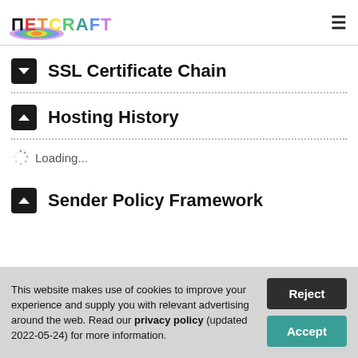Netcraft
SSL Certificate Chain
Hosting History
Loading...
Sender Policy Framework
This website makes use of cookies to improve your experience and supply you with relevant advertising around the web. Read our privacy policy (updated 2022-05-24) for more information.